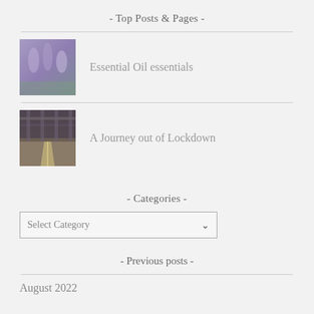- Top Posts & Pages -
[Figure (photo): Thumbnail image of lavender or purple flowers, blurred/abstract]
Essential Oil essentials
[Figure (photo): Thumbnail image of a road or highway under a structure, orange/brown tones]
A Journey out of Lockdown
- Categories -
Select Category
- Previous posts -
August 2022